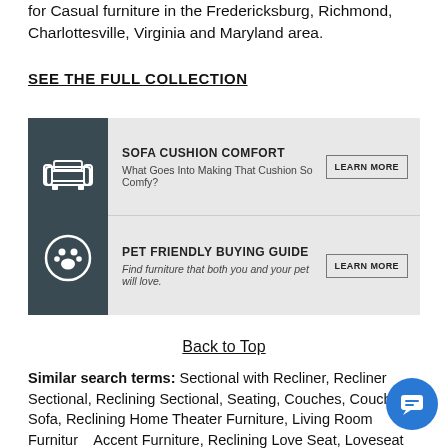for Casual furniture in the Fredericksburg, Richmond, Charlottesville, Virginia and Maryland area.
SEE THE FULL COLLECTION
[Figure (infographic): Promotional banner with two rows: 'Sofa Cushion Comfort - What Goes Into Making That Cushion So Comfy?' with a Learn More button, and 'Pet Friendly Buying Guide - Find furniture that both you and your pet will love.' with a Learn More button. Left side has dark teal background with sofa and paw print icons.]
Back to Top
Similar search terms: Sectional with Recliner, Recliner Sectional, Reclining Sectional, Seating, Couches, Couch, Sofa, Reclining Home Theater Furniture, Living Room Furniture, Accent Furniture, Reclining Love Seat, Loveseat Recliner, Reclining Couch, Reclining Sofa, Couch with Recliner, Sofa Recliner, Motion Furniture, Moving Furniture, Living Room Furniture, Family Room Furniture, Great Room Furniture, Den